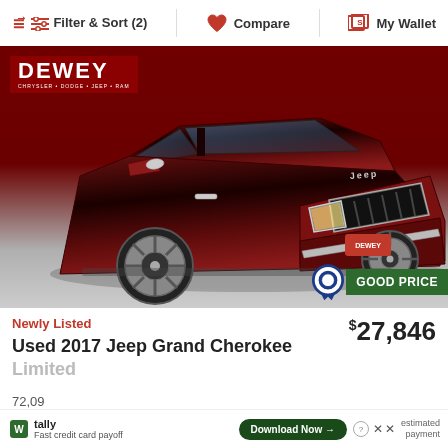Filter & Sort (2)   Compare   My Wallet
[Figure (photo): Photo of a dark red/maroon 2017 Jeep Grand Cherokee Limited SUV in front of a dealership with a Dewey Chrysler Dodge Jeep Ram logo in the upper left. A red Dewey dealership badge is visible on the front license plate area.]
GOOD PRICE
Newly Listed
$27,846
Used 2017 Jeep Grand Cherokee Limited
72,09
Fast credit card payoff
Download Now →
estimated payment